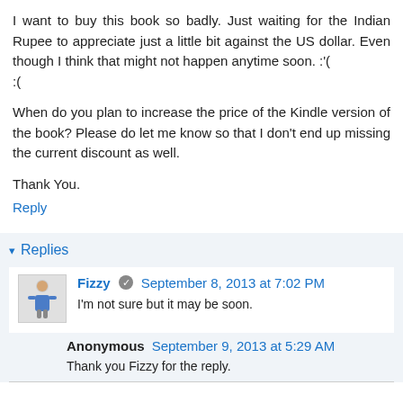I want to buy this book so badly. Just waiting for the Indian Rupee to appreciate just a little bit against the US dollar. Even though I think that might not happen anytime soon. :'( :(
When do you plan to increase the price of the Kindle version of the book? Please do let me know so that I don't end up missing the current discount as well.
Thank You.
Reply
▾ Replies
Fizzy  September 8, 2013 at 7:02 PM
I'm not sure but it may be soon.
Anonymous  September 9, 2013 at 5:29 AM
Thank you Fizzy for the reply.